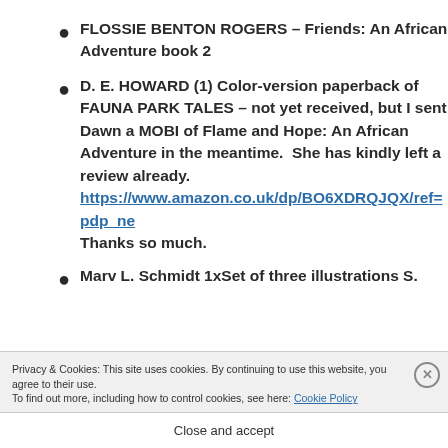FLOSSIE BENTON ROGERS – Friends: An African Adventure book 2
D. E. HOWARD (1) Color-version paperback of FAUNA PARK TALES – not yet received, but I sent Dawn a MOBI of Flame and Hope: An African Adventure in the meantime.  She has kindly left a review already. https://www.amazon.co.uk/dp/BO6XDRQJQX/ref=pdp_ne Thanks so much.
Marv L. Schmidt 1xSet of three illustrations S.
Privacy & Cookies: This site uses cookies. By continuing to use this website, you agree to their use.
To find out more, including how to control cookies, see here: Cookie Policy
Close and accept